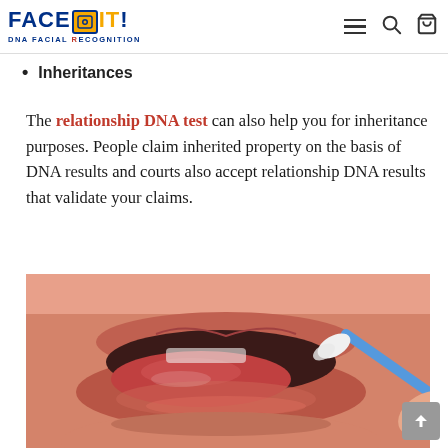FACE IT! DNA FACIAL RECOGNITION
Inheritances
The relationship DNA test can also help you for inheritance purposes. People claim inherited property on the basis of DNA results and courts also accept relationship DNA results that validate your claims.
[Figure (photo): Close-up photograph of a person opening their mouth while a blue cotton swab is being inserted for a DNA cheek swab sample collection.]